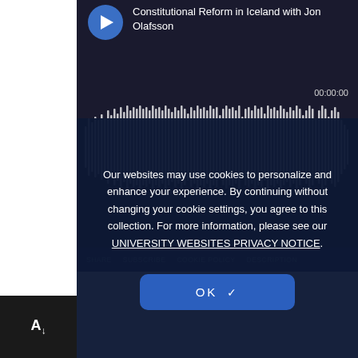Constitutional Reform in Iceland with Jon Olafsson
00:00:00
[Figure (other): Audio waveform visualization showing podcast audio bars in white/grey on dark background]
SHARE  SUBSCRIBE  COOKIE POLICY  DESCRIPTION
Our websites may use cookies to personalize and enhance your experience. By continuing without changing your cookie settings, you agree to this collection. For more information, please see our UNIVERSITY WEBSITES PRIVACY NOTICE.
OK ✓